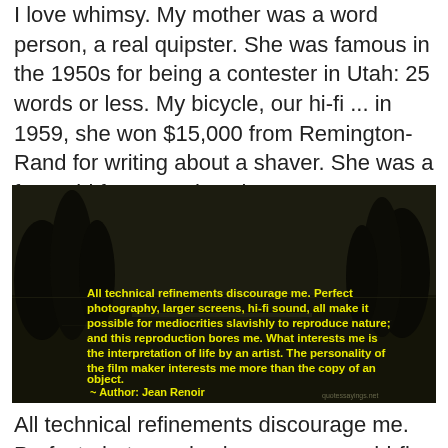I love whimsy. My mother was a word person, a real quipster. She was famous in the 1950s for being a contester in Utah: 25 words or less. My bicycle, our hi-fi ... in 1959, she won $15,000 from Remington-Rand for writing about a shaver. She was a farm girl from South Dakota. — Ron Carlson
[Figure (photo): Dark night-time landscape photo of trees reflected in water, with yellow bold text overlay quoting Jean Renoir: 'All technical refinements discourage me. Perfect photography, larger screens, hi-fi sound, all make it possible for mediocrities slavishly to reproduce nature; and this reproduction bores me. What interests me is the interpretation of life by an artist. The personality of the film maker interests me more than the copy of an object. ~ Author: Jean Renoir'. Small watermark 'quotessayings.net' in lower right.]
All technical refinements discourage me. Perfect photography, larger screens, hi-fi sound, all make it